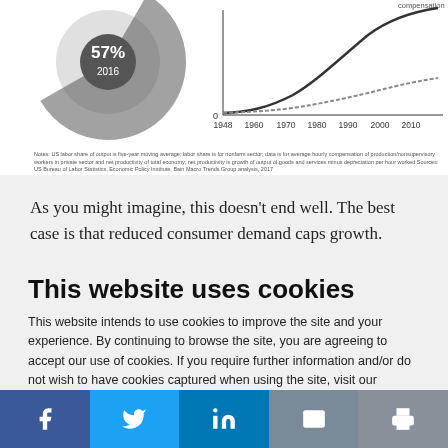[Figure (continuous-plot): Chart fragment showing labor share % (57%, 2016) on left as a donut/circle element and a line chart on the right with x-axis years 1948, 1960, 1970, 1980, 1990, 2000, 2010 and 0 on y-axis, showing divergence between productivity and compensation lines.]
Notes: US labor share of output is five-year moving average; labor share is for nonfarm sector; data is for average hourly compensation of production/nonsupervisory workers in private sector and net productivity of total economy; net productivity is growth of output of goods and services minus depreciation per hour worked Sources: US Bureau of Labor Statistics, Economic Policy Institute, Bain Macro Trends Group analysis, 2017
As you might imagine, this doesn’t end well. The best case is that reduced consumer demand caps growth.
This website uses cookies
This website intends to use cookies to improve the site and your experience. By continuing to browse the site, you are agreeing to accept our use of cookies. If you require further information and/or do not wish to have cookies captured when using the site, visit our Privacy Policy.
ACCEPT COOKIES